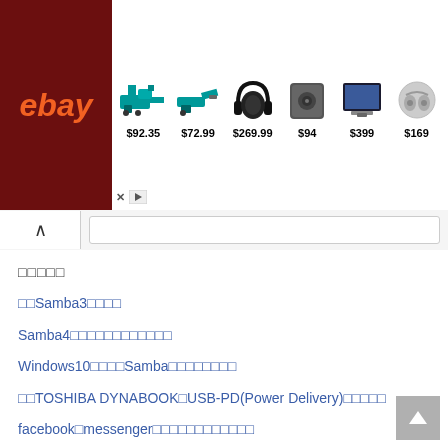[Figure (screenshot): eBay advertisement banner showing products: power tools ($92.35), power tool ($72.99), headphones ($269.99), speaker ($94), laptop/tablet ($399), earbuds ($169)]
□□□□□
□□Samba3□□□□
Samba4□□□□□□□□□□□□
Windows10□□□□Samba□□□□□□□□
□□TOSHIBA DYNABOOK□USB-PD(Power Delivery)□□□□□
facebook□messenger□□□□□□□□□□□□
Freemake Video Converter□□□□□□□□□
Windos10□□□□□□□□□□□□□□□
Freemake Video Converter□□□□□□□□□□□□□□□□